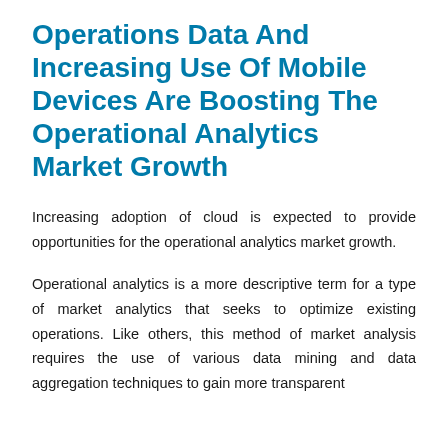Operations Data And Increasing Use Of Mobile Devices Are Boosting The Operational Analytics Market Growth
Increasing adoption of cloud is expected to provide opportunities for the operational analytics market growth.
Operational analytics is a more descriptive term for a type of market analytics that seeks to optimize existing operations. Like others, this method of market analysis requires the use of various data mining and data aggregation techniques to gain more transparent